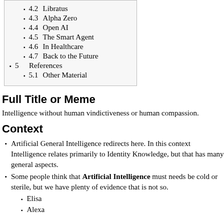4.2  Libratus
4.3  Alpha Zero
4.4  Open AI
4.5  The Smart Agent
4.6  In Healthcare
4.7  Back to the Future
5  References
5.1  Other Material
Full Title or Meme
Intelligence without human vindictiveness or human compassion.
Context
Artificial General Intelligence redirects here. In this context Intelligence relates primarily to Identity Knowledge, but that has many general aspects.
Some people think that Artificial Intelligence must needs be cold or sterile, but we have plenty of evidence that is not so.
Elisa
Alexa